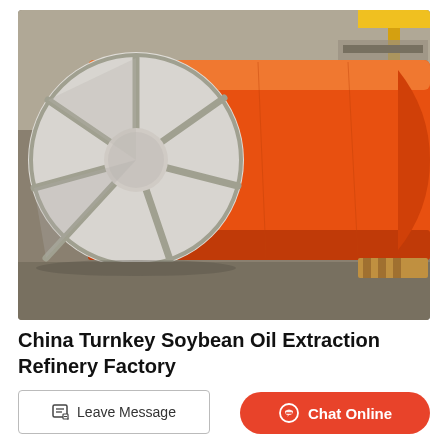[Figure (photo): Large orange industrial cylinder/drum with a metal spoke wheel/hub on the left end, lying horizontally on the factory floor. The drum is bright orange with a circular metal face plate with spokes radiating from a central hub. Industrial factory setting visible in background.]
China Turnkey Soybean Oil Extraction Refinery Factory
High efficiency Mini... (partially visible)